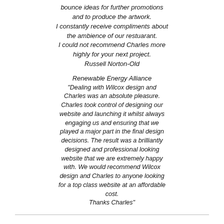bounce ideas for further promotions and to produce the artwork. I constantly receive compliments about the ambience of our restuarant. I could not recommend Charles more highly for your next project. Russell Norton-Old
Renewable Energy Alliance "Dealing with Wilcox design and Charles was an absolute pleasure. Charles took control of designing our website and launching it whilst always engaging us and ensuring that we played a major part in the final design decisions. The result was a brilliantly designed and professional looking website that we are extremely happy with. We would recommend Wilcox design and Charles to anyone looking for a top class website at an affordable cost. Thanks Charles"